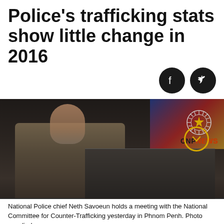Police's trafficking stats show little change in 2016
[Figure (photo): National Police chief Neth Savoeun in uniform seated at a meeting, with a CNPNEWS watermark logo in upper right corner. A second partial photo is visible overlapping at the bottom showing a table/meeting scene.]
National Police chief Neth Savoeun holds a meeting with the National Committee for Counter-Trafficking yesterday in Phnom Penh. Photo supplied.